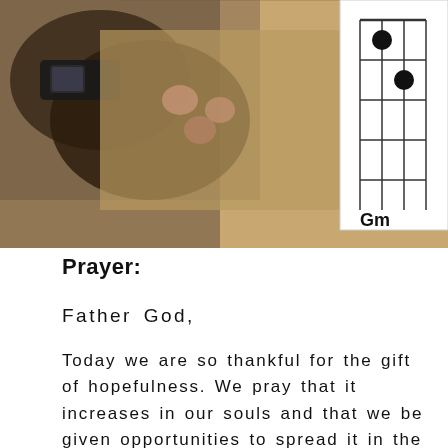[Figure (photo): A person's hand holding a guitar neck/strings, with a guitar chord diagram (Gm) visible in the upper right corner overlay.]
Prayer:
Father God,
Today we are so thankful for the gift of hopefulness. We pray that it increases in our souls and that we be given opportunities to spread it in the world. Open our eyes to how we may give hope to someone else this week,